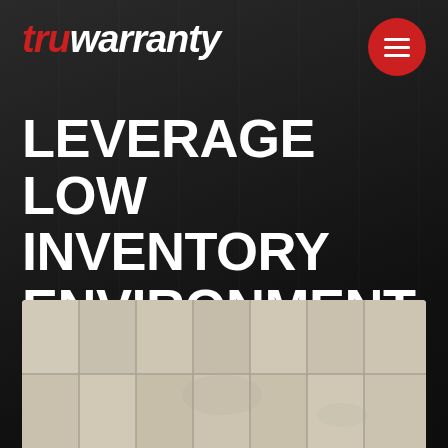[Figure (logo): TruWarranty logo — 'tru' in red italic bold, 'warranty' in white italic bold]
[Figure (other): Hamburger menu button — red circle with three white horizontal lines]
LEVERAGE LOW INVENTORY ENVIRONMENT FOR BETTER F&I
[Figure (photo): Bottom portion of page showing a tiled stone/marble floor or wall surface in beige/tan tones]